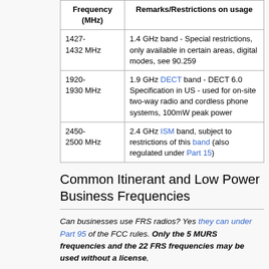| Frequency (MHz) | Remarks/Restrictions on usage |
| --- | --- |
| 1427-
1432 MHz | 1.4 GHz band - Special restrictions, only available in certain areas, digital modes, see 90.259 |
| 1920-
1930 MHz | 1.9 GHz DECT band - DECT 6.0 Specification in US - used for on-site two-way radio and cordless phone systems, 100mW peak power |
| 2450-
2500 MHz | 2.4 GHz ISM band, subject to restrictions of this band (also regulated under Part 15) |
Common Itinerant and Low Power Business Frequencies
Can businesses use FRS radios? Yes they can under Part 95 of the FCC rules. Only the 5 MURS frequencies and the 22 FRS frequencies may be used without a license,